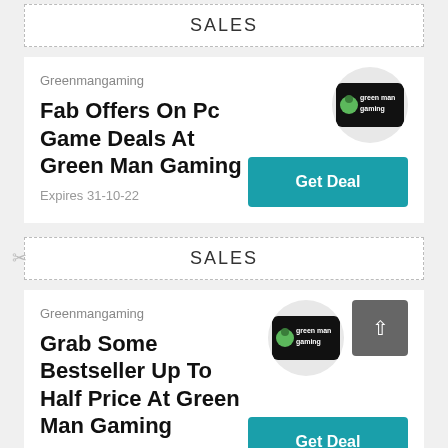SALES
Greenmangaming
Fab Offers On Pc Game Deals At Green Man Gaming
Expires 31-10-22
SALES
Greenmangaming
Grab Some Bestseller Up To Half Price At Green Man Gaming
Expires 31-10-22